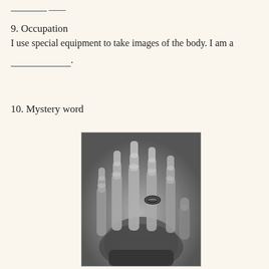_______ ____
9. Occupation
I use special equipment to take images of the body. I am a ___________.
10. Mystery word
[Figure (photo): Historical X-ray image of a human hand showing bones and a ring on one finger, known as one of the first X-ray images taken by Wilhelm Röntgen.]